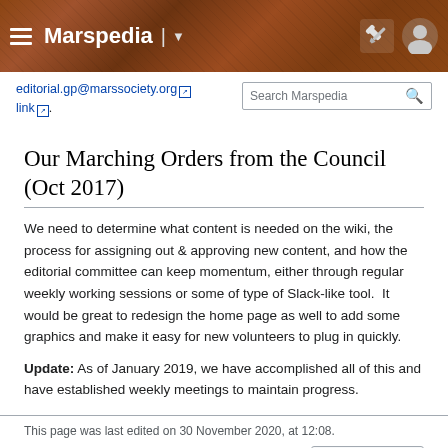Marspedia
editorial.gp@marssociety.org [link]. You can join the list by visiting this link.
Our Marching Orders from the Council (Oct 2017)
We need to determine what content is needed on the wiki, the process for assigning out & approving new content, and how the editorial committee can keep momentum, either through regular weekly working sessions or some of type of Slack-like tool.  It would be great to redesign the home page as well to add some graphics and make it easy for new volunteers to plug in quickly.
Update: As of January 2019, we have accomplished all of this and have established weekly meetings to maintain progress.
This page was last edited on 30 November 2020, at 12:08.
Privacy policy  About Marspedia  Disclaimers  Powered by MediaWiki